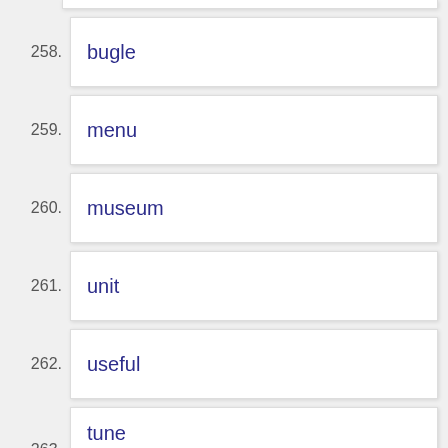258. bugle
259. menu
260. museum
261. unit
262. useful
263. tune